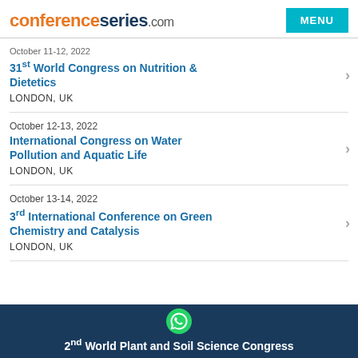conferenceseries.com — MENU
October 11-12, 2022
31st World Congress on Nutrition & Dietetics
LONDON, UK
October 12-13, 2022
International Congress on Water Pollution and Aquatic Life
LONDON, UK
October 13-14, 2022
3rd International Conference on Green Chemistry and Catalysis
LONDON, UK
2nd World Plant and Soil Science Congress